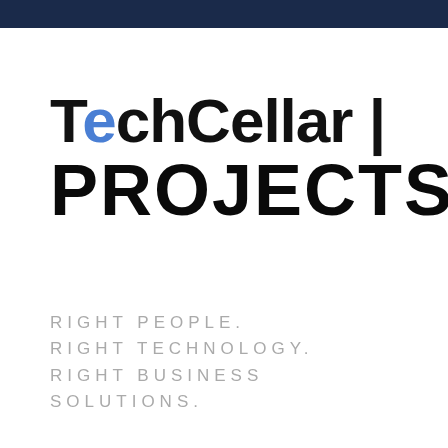TechCellar | PROJECTS
RIGHT PEOPLE. RIGHT TECHNOLOGY. RIGHT BUSINESS SOLUTIONS.